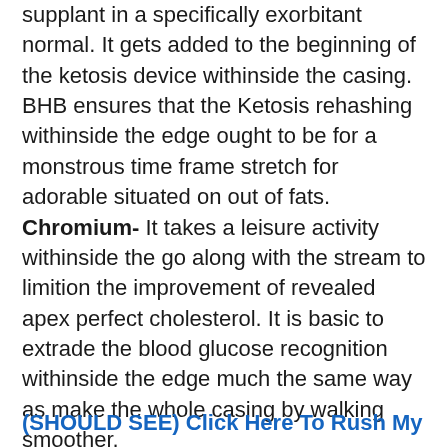supplant in a specifically exorbitant normal. It gets added to the beginning of the ketosis device withinside the casing. BHB ensures that the Ketosis rehashing withinside the edge ought to be for a monstrous time frame stretch for adorable situated on out of fats. Chromium- It takes a leisure activity withinside the go along with the stream to limition the improvement of revealed apex perfect cholesterol. It is basic to extrade the blood glucose recognition withinside the edge much the same way as make the whole casing by walking smoother.
(SHOULD SEE) Click Here To Rush My